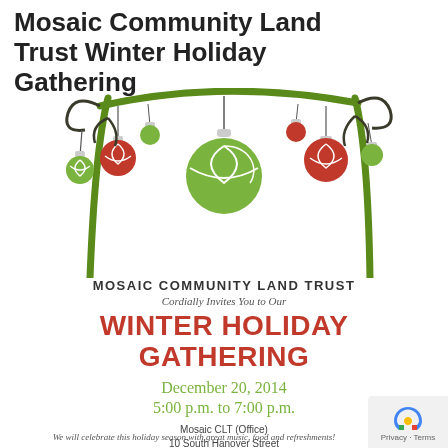Mosaic Community Land Trust Winter Holiday Gathering
[Figure (illustration): Decorative holiday illustration with a green arch/branch frame holding hanging Christmas ornaments in red and green. Multiple ornaments of various sizes are suspended from the arch. Two vertical green branches frame the sides.]
MOSAIC COMMUNITY LAND TRUST
Cordially Invites You to Our
WINTER HOLIDAY GATHERING
December 20, 2014
5:00 p.m. to 7:00 p.m.
Mosaic CLT (Office)
10 South Hanover Street
Pottstown, Pennsylvania
We will celebrate this holiday season with great music, food and refreshments!